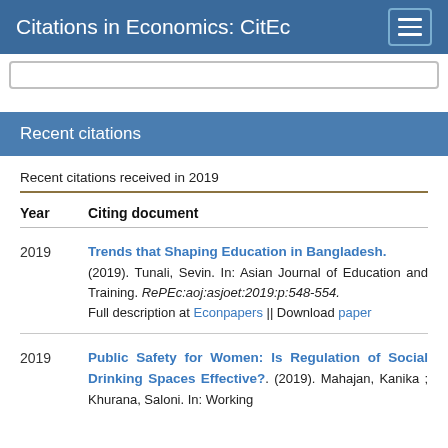Citations in Economics: CitEc
Recent citations
Recent citations received in 2019
| Year | Citing document |
| --- | --- |
| 2019 | Trends that Shaping Education in Bangladesh. (2019). Tunali, Sevin. In: Asian Journal of Education and Training. RePEc:aoj:asjoet:2019:p:548-554. Full description at Econpapers || Download paper |
| 2019 | Public Safety for Women: Is Regulation of Social Drinking Spaces Effective?. (2019). Mahajan, Kanika ; Khurana, Saloni. In: Working |